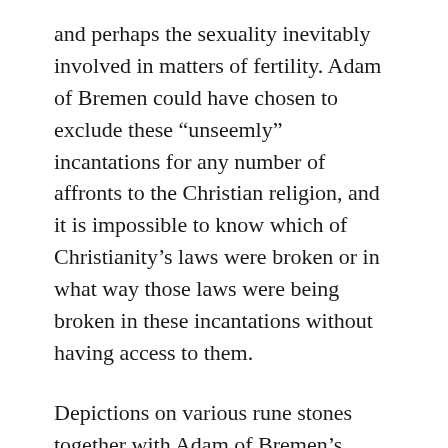and perhaps the sexuality inevitably involved in matters of fertility. Adam of Bremen could have chosen to exclude these “unseemly” incantations for any number of affronts to the Christian religion, and it is impossible to know which of Christianity’s laws were broken or in what way those laws were being broken in these incantations without having access to them.
Depictions on various rune stones together with Adam of Bremen’s account of the activities at the temple of Uppsala give us an idea of what religious practice may have looked like in Scandinavia both during the time of conversion and the time shortly preceding conversion. Aside from telling us that the people engaging in these